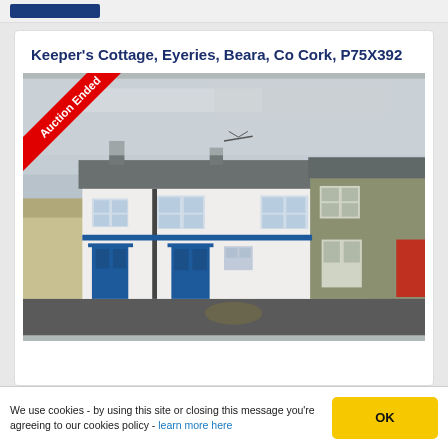Keeper's Cottage, Eyeries, Beara, Co Cork, P75X392
[Figure (photo): Exterior photo of a white-painted two-storey cottage with blue doors and windows in Eyeries village. An 'Auction Ended' red diagonal banner overlays the top-left corner of the image.]
We use cookies - by using this site or closing this message you're agreeing to our cookies policy - learn more here